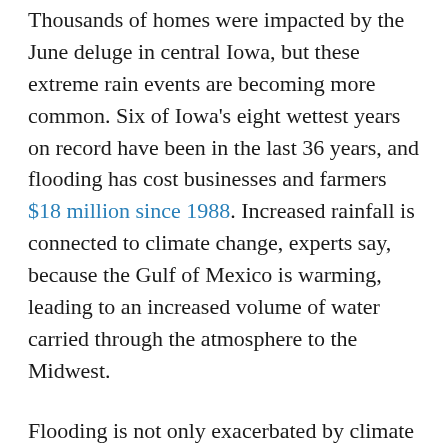Thousands of homes were impacted by the June deluge in central Iowa, but these extreme rain events are becoming more common. Six of Iowa's eight wettest years on record have been in the last 36 years, and flooding has cost businesses and farmers $18 million since 1988. Increased rainfall is connected to climate change, experts say, because the Gulf of Mexico is warming, leading to an increased volume of water carried through the atmosphere to the Midwest.
Flooding is not only exacerbated by climate change, but by the way Iowans are using their land. As cities become more and more developed, imposing sprawling buildings and asphalt parking lots on once-permeable prairie